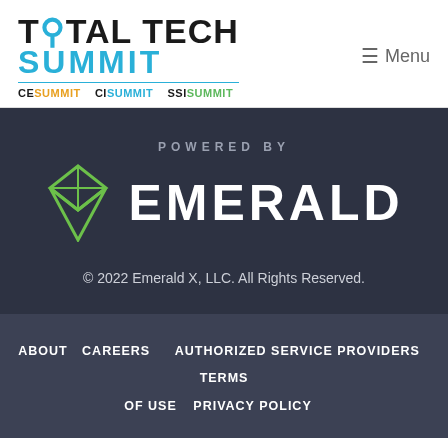[Figure (logo): Total Tech Summit logo with blue SUMMIT text, and sub-labels CE SUMMIT, CI SUMMIT, SSI SUMMIT in different colors]
Menu
[Figure (logo): Powered by Emerald logo with green diamond geometric icon and white EMERALD text on dark background]
© 2022 Emerald X, LLC. All Rights Reserved.
ABOUT   CAREERS   AUTHORIZED SERVICE PROVIDERS   TERMS OF USE   PRIVACY POLICY